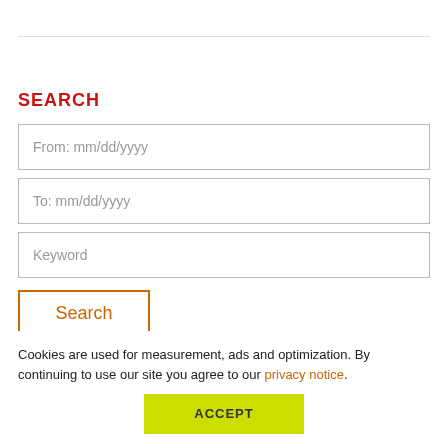SEARCH
From: mm/dd/yyyy
To: mm/dd/yyyy
Keyword
Search
[Figure (screenshot): Advertisement banner: hotel room photo with text 'Your Home Away from Home. More' on dark teal background, with a close button in the top right]
Cookies are used for measurement, ads and optimization. By continuing to use our site you agree to our privacy notice.
ACCEPT